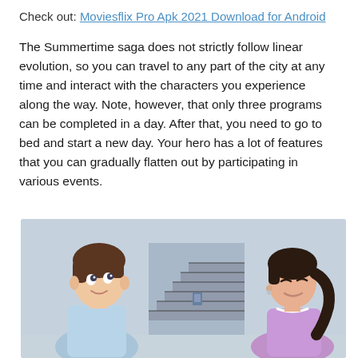Check out: Moviesflix Pro Apk 2021 Download for Android
The Summertime saga does not strictly follow linear evolution, so you can travel to any part of the city at any time and interact with the characters you experience along the way. Note, however, that only three programs can be completed in a day. After that, you need to go to bed and start a new day. Your hero has a lot of features that you can gradually flatten out by participating in various events.
[Figure (illustration): Cartoon illustration showing two anime-style characters inside a building with stairs in the background. On the left is a boy with brown hair wearing a light blue shirt, and on the right is a girl with dark hair in a ponytail wearing a purple shirt, both facing each other.]